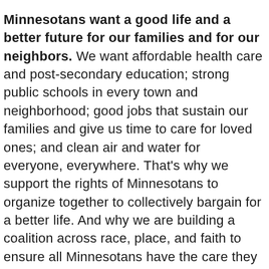Minnesotans want a good life and a better future for our families and for our neighbors. We want affordable health care and post-secondary education; strong public schools in every town and neighborhood; good jobs that sustain our families and give us time to care for loved ones; and clean air and water for everyone, everywhere. That's why we support the rights of Minnesotans to organize together to collectively bargain for a better life. And why we are building a coalition across race, place, and faith to ensure all Minnesotans have the care they need, a bright energy future and healthy climate, safe communities and a fair justice system, connected communities, the opportunity to achieve their dreams, and the time to care for themselves and their loved ones.
This year, we are standing up for the progressive values we share with Gov. Walz and the House DFL, even as we stand in the face of Republican obstruction.